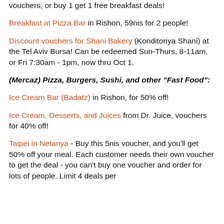vouchers, or buy 1 get 1 free breakfast deals!
Breakfast at Pizza Bar in Rishon, 59nis for 2 people!
Discount vouchers for Shani Bakery (Konditoriya Shani) at the Tel Aviv Bursa! Can be redeemed Sun-Thurs, 8-11am, or Fri 7:30am - 1pm, now thru Oct 1.
(Mercaz) Pizza, Burgers, Sushi, and other "Fast Food":
Ice Cream Bar (Badatz) in Rishon, for 50% off!
Ice Cream, Desserts, and Juices from Dr. Juice, vouchers for 40% off!
Taipei in Netanya - Buy this 5nis voucher, and you'll get 50% off your meal. Each customer needs their own voucher to get the deal - you can't buy one voucher and order for lots of people. Limit 4 deals per